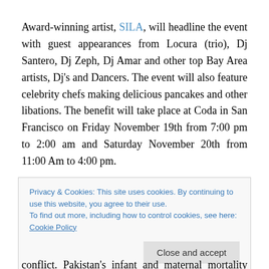Award-winning artist, SILA, will headline the event with guest appearances from Locura (trio), Dj Santero, Dj Zeph, Dj Amar and other top Bay Area artists, Dj's and Dancers. The event will also feature celebrity chefs making delicious pancakes and other libations. The benefit will take place at Coda in San Francisco on Friday November 19th from 7:00 pm to 2:00 am and Saturday November 20th from 11:00 Am to 4:00 pm.
Privacy & Cookies: This site uses cookies. By continuing to use this website, you agree to their use. To find out more, including how to control cookies, see here: Cookie Policy
conflict. Pakistan's infant and maternal mortality rates are